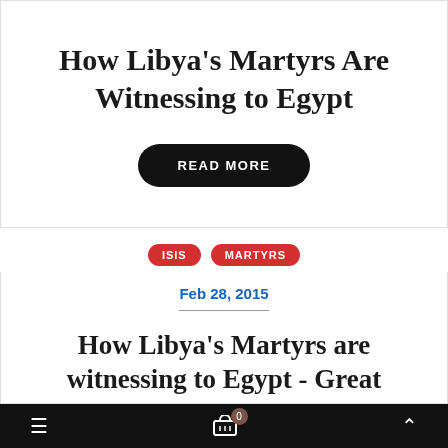How Libya's Martyrs Are Witnessing to Egypt
READ MORE
ISIS   MARTYRS
Feb 28, 2015
How Libya's Martyrs are witnessing to Egypt - Great